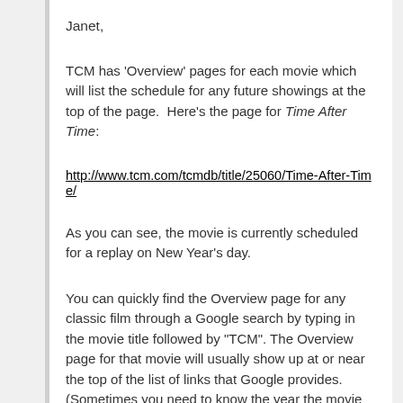Janet,
TCM has 'Overview' pages for each movie which will list the schedule for any future showings at the top of the page.  Here's the page for Time After Time:
http://www.tcm.com/tcmdb/title/25060/Time-After-Time/
As you can see, the movie is currently scheduled for a replay on New Year's day.
You can quickly find the Overview page for any classic film through a Google search by typing in the movie title followed by "TCM". The Overview page for that movie will usually show up at or near the top of the list of links that Google provides.  (Sometimes you need to know the year the movie was released if there are multiple movies with the same title, and then look for the film with